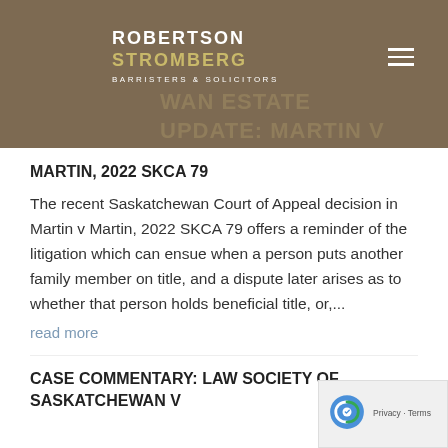ROBERTSON STROMBERG BARRISTERS & SOLICITORS
MARTIN, 2022 SKCA 79
The recent Saskatchewan Court of Appeal decision in Martin v Martin, 2022 SKCA 79 offers a reminder of the litigation which can ensue when a person puts another family member on title, and a dispute later arises as to whether that person holds beneficial title, or,...
read more
CASE COMMENTARY: LAW SOCIETY OF SASKATCHEWAN V